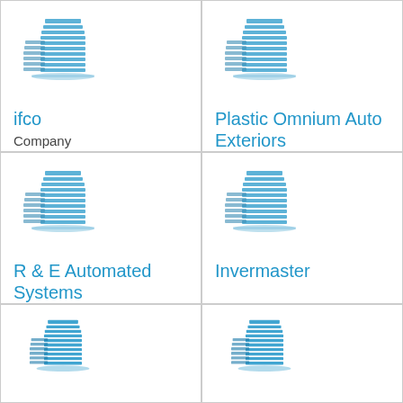[Figure (logo): Building icon for ifco]
ifco
Company
[Figure (logo): Building icon for Plastic Omnium Auto Exteriors]
Plastic Omnium Auto Exteriors
[Figure (logo): Building icon for R & E Automated Systems]
R & E Automated Systems
Machine industry company
[Figure (logo): Building icon for Invermaster]
Invermaster
[Figure (logo): Building icon (bottom left, partially visible)]
[Figure (logo): Building icon (bottom right, partially visible)]